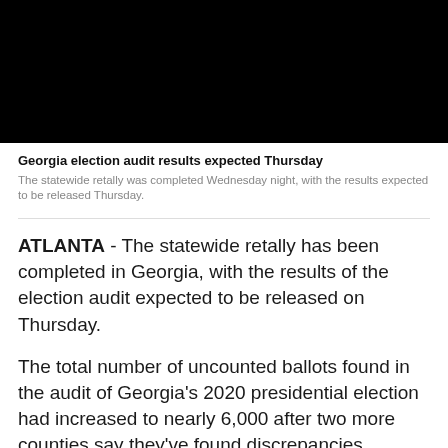[Figure (photo): Black image placeholder for video or photo content]
Georgia election audit results expected Thursday
The statewide retally was completed Wednesday night, with the results expected to be released Thursday.
ATLANTA - The statewide retally has been completed in Georgia, with the results of the election audit expected to be released on Thursday.
The total number of uncounted ballots found in the audit of Georgia's 2020 presidential election had increased to nearly 6,000 after two more counties say they've found discrepancies.